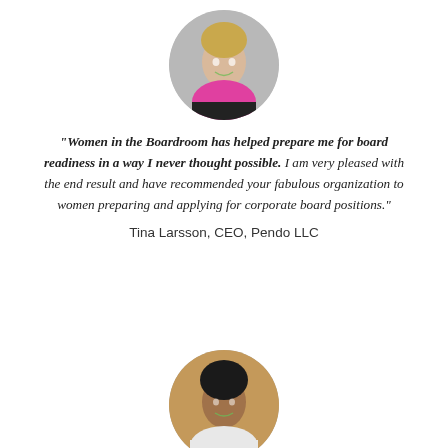[Figure (photo): Circular headshot photo of a blonde woman in a pink top and black blazer, smiling]
"Women in the Boardroom has helped prepare me for board readiness in a way I never thought possible. I am very pleased with the end result and have recommended your fabulous organization to women preparing and applying for corporate board positions."
Tina Larsson, CEO, Pendo LLC
[Figure (photo): Circular headshot photo of a dark-haired woman in a white jacket with warm brown background, smiling]